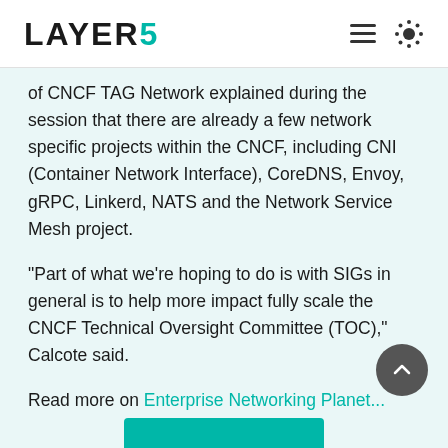LAYER5
of CNCF TAG Network explained during the session that there are already a few network specific projects within the CNCF, including CNI (Container Network Interface), CoreDNS, Envoy, gRPC, Linkerd, NATS and the Network Service Mesh project.
"Part of what we're hoping to do is with SIGs in general is to help more impact fully scale the CNCF Technical Oversight Committee (TOC)," Calcote said.
Read more on Enterprise Networking Planet...